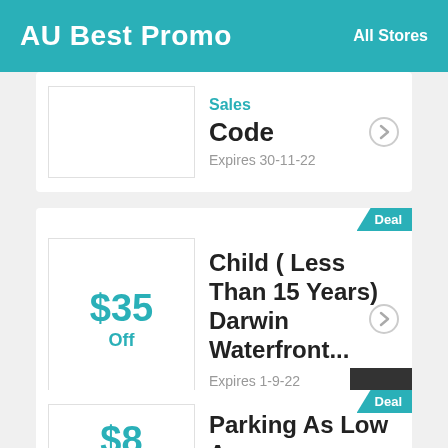AU Best Promo  All Stores
Sales
Code
Expires 30-11-22
$35 Off
Child ( Less Than 15 Years) Darwin Waterfront...
Expires 1-9-22
$8
Parking As Low As